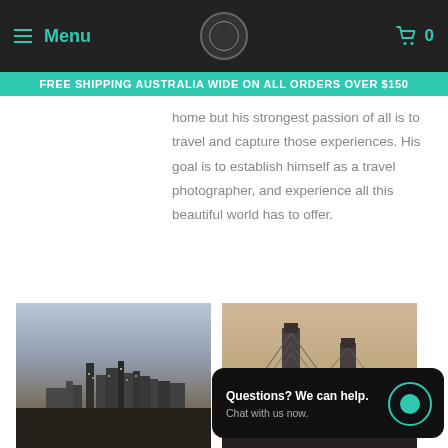Menu | [Logo] | 0
FREE SHIPPING AUSTRALIA WIDE ON ALL ORDERS OVER $150
home but his strongest passion of all is to travel and capture those experiences. His goal is to establish himself as a travel photographer, and experience all this beautiful world has to offer.
[Figure (photo): Aerial cityscape photo showing city skyline with tall buildings and cloudy sky at dusk]
[Figure (photo): Photo of Brooklyn Bridge with warm toned sky at dusk]
Questions? We can help. Chat with us now.